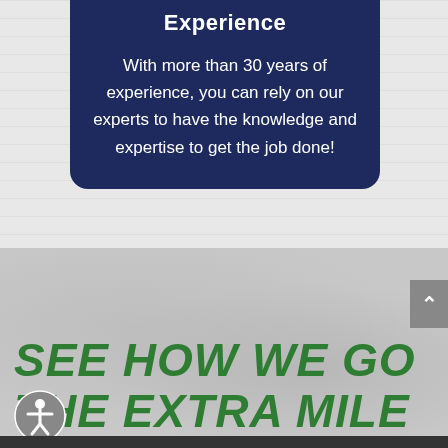Experience
With more than 30 years of experience, you can rely on our experts to have the knowledge and expertise to get the job done!
SEE HOW WE GO THE EXTRA MILE FOR YOU